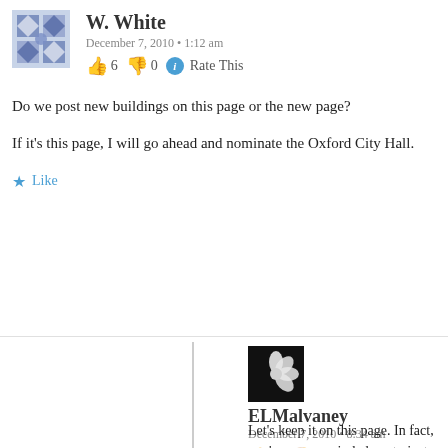[Figure (illustration): User avatar for W. White — blue and white geometric quilt pattern]
W. White
December 7, 2010 • 1:12 am
👍 6 👎 0 ℹ Rate This
Do we post new buildings on this page or the new page?
If it's this page, I will go ahead and nominate the Oxford City Hall.
★ Like
[Figure (illustration): User avatar for ELMalvaney — dark background with white flower/leaf design]
ELMalvaney
December 7, 2010 • 8:34 am
👍 0 👎 0 ℹ Rate This
Let's keep it on this page. In fact, you've now reminded me to just shut down the possibility of comments on the other page, so we don't have two lists going.
★ Like